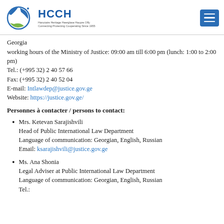HCCH logo header with navigation menu
Georgia
working hours of the Ministry of Justice: 09:00 am till 6:00 pm (lunch: 1:00 to 2:00 pm)
Tel.: (+995 32) 2 40 57 66
Fax: (+995 32) 2 40 52 04
E-mail: Intlawdep@justice.gov.ge
Website: https://justice.gov.ge/
Personnes à contacter / persons to contact:
Mrs. Ketevan Sarajishvili
Head of Public International Law Department
Language of communication: Georgian, English, Russian
Email: ksarajishvili@justice.gov.ge
Ms. Ana Shonia
Legal Adviser at Public International Law Department
Language of communication: Georgian, English, Russian
Tel.: